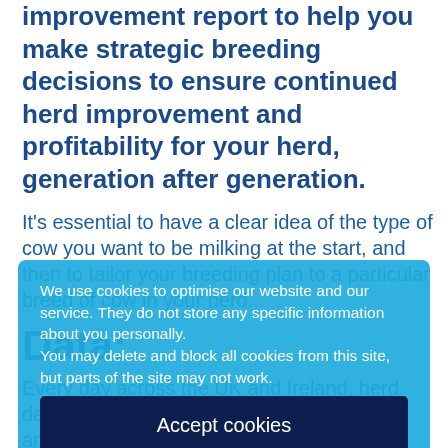improvement report to help you make strategic breeding decisions to ensure continued herd improvement and profitability for your herd, generation after generation.
It's essential to have a clear idea of the type of cow you want to be milking at the start, and then to tailor your breeding plan to a particular breed of cow in your herd.
Data:
Every day across the UK and Ireland, herd data is collected and utilised, farm furthered and led in many different ways.
What are you doing with your data? LIC can help you make the right decisions...
We use cookies to optimise our website and our service. They do not store any specific information about you personally.
You may delete and block all cookies from this site, but parts of the site may not work.
Accept cookies
View preferences
Cookies policy   Privacy Notice